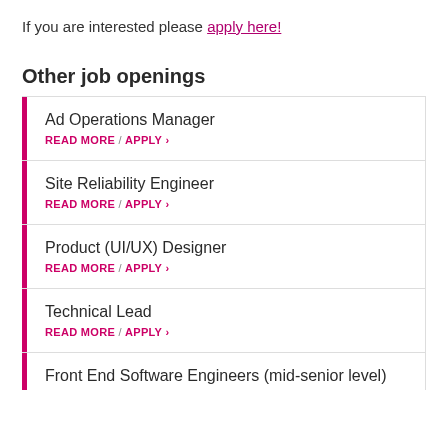If you are interested please apply here!
Other job openings
Ad Operations Manager
READ MORE / APPLY ›
Site Reliability Engineer
READ MORE / APPLY ›
Product (UI/UX) Designer
READ MORE / APPLY ›
Technical Lead
READ MORE / APPLY ›
Front End Software Engineers (mid-senior level)